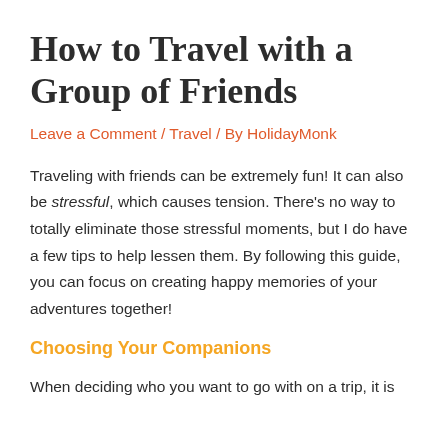How to Travel with a Group of Friends
Leave a Comment / Travel / By HolidayMonk
Traveling with friends can be extremely fun! It can also be stressful, which causes tension. There's no way to totally eliminate those stressful moments, but I do have a few tips to help lessen them. By following this guide, you can focus on creating happy memories of your adventures together!
Choosing Your Companions
When deciding who you want to go with on a trip, it is